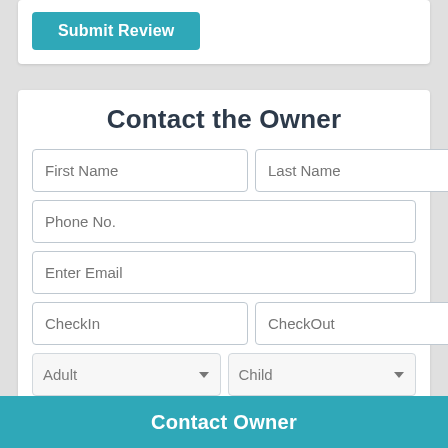[Figure (screenshot): Submit Review button (teal/blue-green) at top of a white card]
Contact the Owner
[Figure (screenshot): Web form with fields: First Name, Last Name, Phone No., Enter Email, CheckIn, CheckOut, Adult dropdown, Child dropdown, and a partially visible message textarea]
Contact Owner